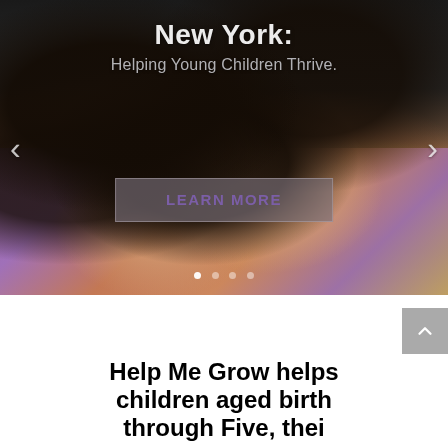[Figure (photo): Hero image showing a baby and adult on colorful foam play mat, with overlaid text 'New York: Helping Young Children Thrive.' and a Learn More button. Navigation arrows on left and right sides. Carousel indicator dots at bottom.]
Help Me Grow helps children aged birth through Five, their...